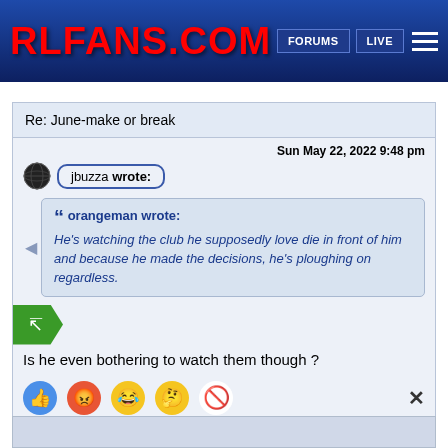RLFANS.COM — FORUMS | LIVE
Re: June-make or break
Sun May 22, 2022 9:48 pm
jbuzza wrote:
orangeman wrote: He's watching the club he supposedly love die in front of him and because he made the decisions, he's ploughing on regardless.
Is he even bothering to watch them though ?
[Figure (infographic): Reaction emoji row: thumbs up (blue), angry face, laughing face, thinking face, no entry sign, and an X close button]